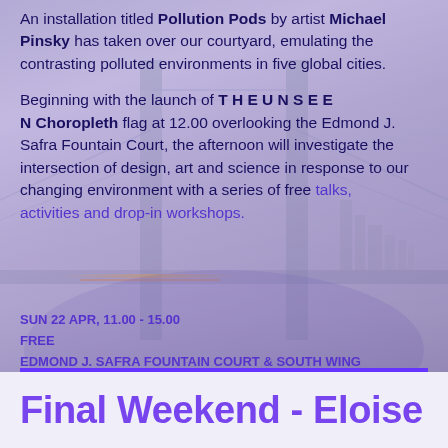An installation titled Pollution Pods by artist Michael Pinsky has taken over our courtyard, emulating the contrasting polluted environments in five global cities.
Beginning with the launch of THE UNSEEN Choropleth flag at 12.00 overlooking the Edmond J. Safra Fountain Court, the afternoon will investigate the intersection of design, art and science in response to our changing environment with a series of free talks, activities and drop-in workshops.
SUN 22 APR, 11.00 - 15.00
FREE
EDMOND J. SAFRA FOUNTAIN COURT & SOUTH WING
DISCOVER MORE
Final Weekend - Eloise